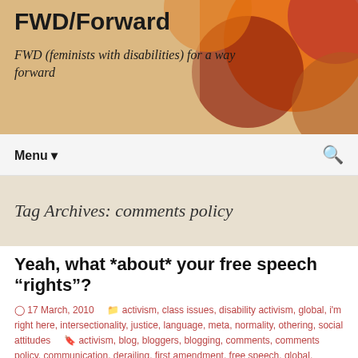FWD/Forward
FWD (feminists with disabilities) for a way forward
Tag Archives: comments policy
Yeah, what *about* your free speech “rights”?
◷ 17 March, 2010   activism, class issues, disability activism, global, i'm right here, intersectionality, justice, language, meta, normality, othering, social attitudes   activism, blog, bloggers, blogging, comments, comments policy, communication, derailing, first amendment, free speech, global, internet, Interneture, it’s...